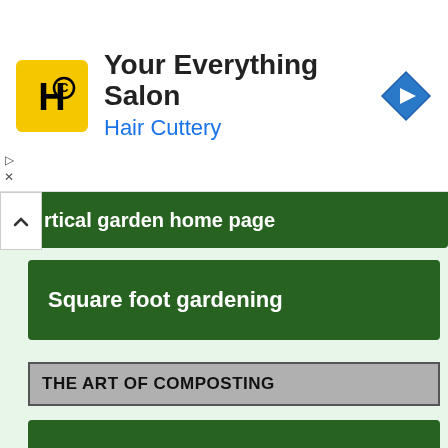[Figure (screenshot): Hair Cuttery advertisement banner with yellow logo, 'Your Everything Salon' text, 'Hair Cuttery' subtitle in blue, and a blue navigation diamond icon on the right]
rtical garden home page
Square foot gardening
THE ART OF COMPOSTING
Bokashi
Composters
Vermicomposting